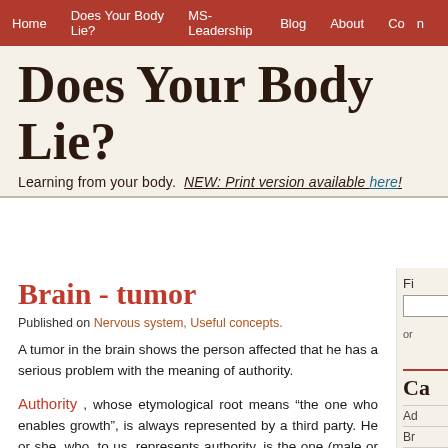Home | Does Your Body Lie? | MS-Leadership | Blog | About | Con...
Does Your Body Lie?
Learning from your body. NEW: Print version available here!
Brain - tumor
Published on Nervous system, Useful concepts.
A tumor in the brain shows the person affected that he has a serious problem with the meaning of authority.
Authority , whose etymological root means “the one who enables growth”, is always represented by a third party. He or she, who, to us, represents authority, is the one (male or female) with whom we feel we are growing. The one who makes us grow is the one who...
Fi... or Ca... Ad... Br... Ci...